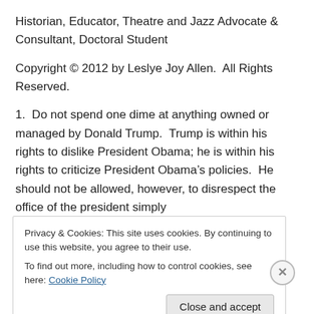Historian, Educator, Theatre and Jazz Advocate & Consultant, Doctoral Student
Copyright © 2012 by Leslye Joy Allen.  All Rights Reserved.
1.  Do not spend one dime at anything owned or managed by Donald Trump.  Trump is within his rights to dislike President Obama; he is within his rights to criticize President Obama's policies.  He should not be allowed, however, to disrespect the office of the president simply
Privacy & Cookies: This site uses cookies. By continuing to use this website, you agree to their use.
To find out more, including how to control cookies, see here: Cookie Policy